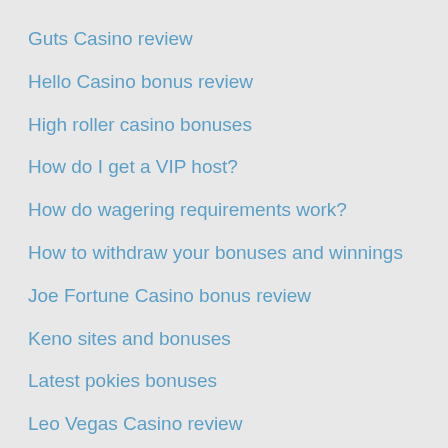Guts Casino review
Hello Casino bonus review
High roller casino bonuses
How do I get a VIP host?
How do wagering requirements work?
How to withdraw your bonuses and winnings
Joe Fortune Casino bonus review
Keno sites and bonuses
Latest pokies bonuses
Leo Vegas Casino review
Live dealer casino games